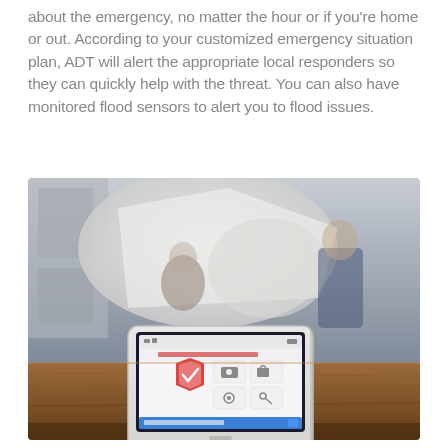about the emergency, no matter the hour or if you're home or out. According to your customized emergency situation plan, ADT will alert the appropriate local responders so they can quickly help with the threat. You can also have monitored flood sensors to alert you to flood issues.
[Figure (photo): A white ADT security panel tablet device sitting on a wooden table in the foreground, with a blurred background showing children playing with blankets/sheets in a home interior setting. The tablet screen displays ADT interface with icons and menu options.]